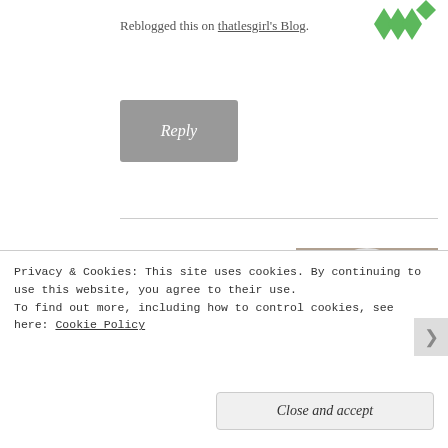Reblogged this on thatlesgirl's Blog.
[Figure (illustration): Green decorative avatar icon with leaf/floral motif in top right corner]
Reply
bohemianopus
July 19, 2013
[Figure (photo): Profile photo of a woman with blonde/white hair, smiling, wearing dark top]
You've painted a beautiful picture of a splendid city!
Reply
Privacy & Cookies: This site uses cookies. By continuing to use this website, you agree to their use.
To find out more, including how to control cookies, see here: Cookie Policy
Close and accept